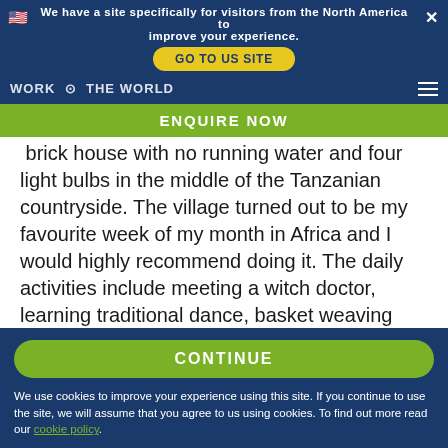We have a site specifically for visitors from the North America to improve your experience. GO TO US SITE
WORK THE WORLD
ENQUIRE NOW
brick house with no running water and four light bulbs in the middle of the Tanzanian countryside. The village turned out to be my favourite week of my month in Africa and I would highly recommend doing it. The daily activities include meeting a witch doctor, learning traditional dance, basket weaving and spending an afternoon with the local Maasai tribe.
CONTINUE
We use cookies to improve your experience using this site. If you continue to use the site, we will assume that you agree to us using cookies. To find out more read our cookie policy.